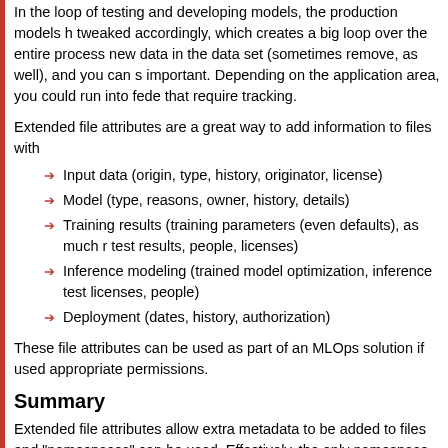In the loop of testing and developing models, the production models h tweaked accordingly, which creates a big loop over the entire process new data in the data set (sometimes remove, as well), and you can s important. Depending on the application area, you could run into fede that require tracking.
Extended file attributes are a great way to add information to files with
Input data (origin, type, history, originator, license)
Model (type, reasons, owner, history, details)
Training results (training parameters (even defaults), as much r test results, people, licenses)
Inference modeling (trained model optimization, inference test licenses, people)
Deployment (dates, history, authorization)
These file attributes can be used as part of an MLOps solution if used appropriate permissions.
Summary
Extended file attributes allow extra metadata to be added to files and "namespaces" can be used. Effectively, the only namespace that can is the user namespace. Extended attribute permissions mirror those o